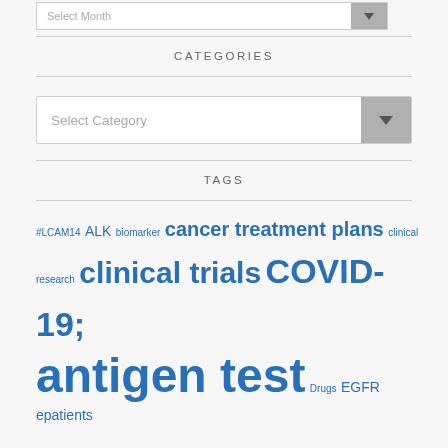[Figure (screenshot): Partial 'Select Month' dropdown widget at top of page]
CATEGORIES
[Figure (screenshot): 'Select Category' dropdown widget]
TAGS
#LCAM14 ALK biomarker cancer treatment plans clinical research clinical trials COVID-19; antigen test Drugs EGFR epatients